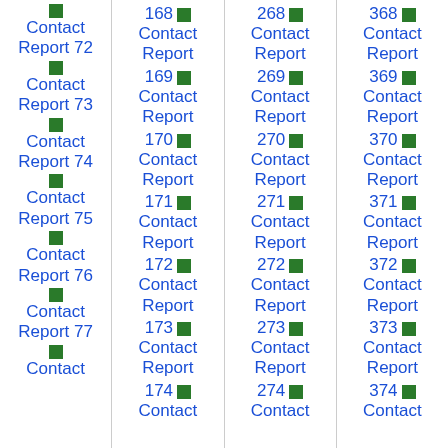Contact Report 72
Contact Report 73
Contact Report 74
Contact Report 75
Contact Report 76
Contact Report 77
Contact Report 168
Contact Report 169
Contact Report 170
Contact Report 171
Contact Report 172
Contact Report 173
Contact Report 174
Contact Report 268
Contact Report 269
Contact Report 270
Contact Report 271
Contact Report 272
Contact Report 273
Contact Report 274
Contact Report 368
Contact Report 369
Contact Report 370
Contact Report 371
Contact Report 372
Contact Report 373
Contact Report 374